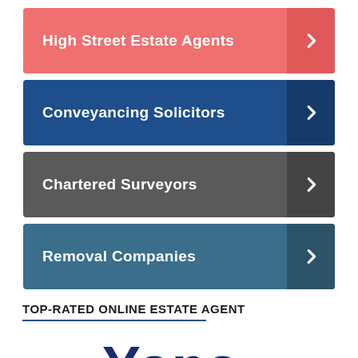High Street Estate Agents
Conveyancing Solicitors
Chartered Surveyors
Removal Companies
TOP-RATED ONLINE ESTATE AGENT
[Figure (logo): Yopa logo — dark navy bold text reading 'Yopa' with a stylized Y]